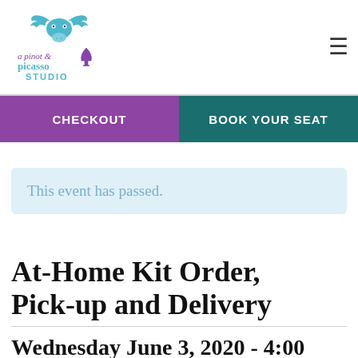[Figure (logo): A Pinot and Picasso / dinner studio logo with a decorative moose and wine glass illustration in teal and purple]
CHECKOUT | BOOK YOUR SEAT
This event has passed.
At-Home Kit Order, Pick-up and Delivery
Wednesday June 3, 2020 - 4:00